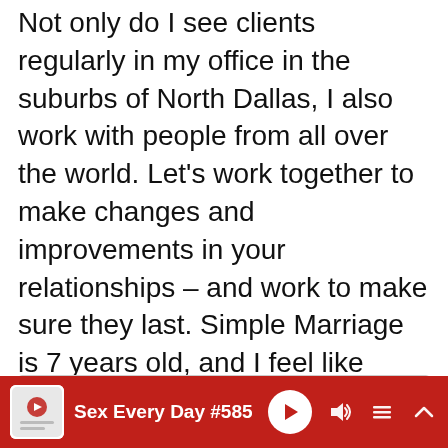Not only do I see clients regularly in my office in the suburbs of North Dallas, I also work with people from all over the world. Let's work together to make changes and improvements in your relationships – and work to make sure they last. Simple Marriage is 7 years old, and I feel like we've only scratched the surface. Here's to all that's to come!
Search
Sex Every Day #585